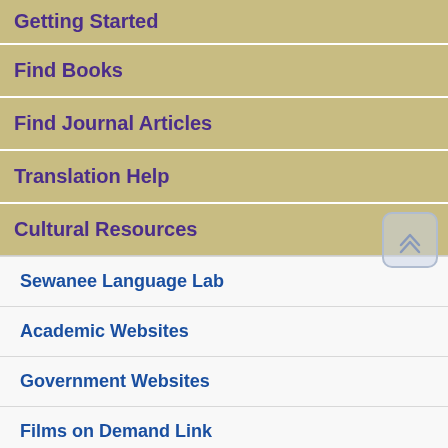Getting Started
Find Books
Find Journal Articles
Translation Help
Cultural Resources
Sewanee Language Lab
Academic Websites
Government Websites
Films on Demand Link
Other GRMN Guides
Newspaper/NGO Websites